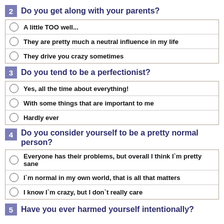2   Do you get along with your parents?
A little TOO well...
They are pretty much a neutral influence in my life
They drive you crazy sometimes
3   Do you tend to be a perfectionist?
Yes, all the time about everything!
With some things that are important to me
Hardly ever
4   Do you consider yourself to be a pretty normal person?
Everyone has their problems, but overall I think I`m pretty sane
I`m normal in my own world, that is all that matters
I know I`m crazy, but I don`t really care
5   Have you ever harmed yourself intentionally?